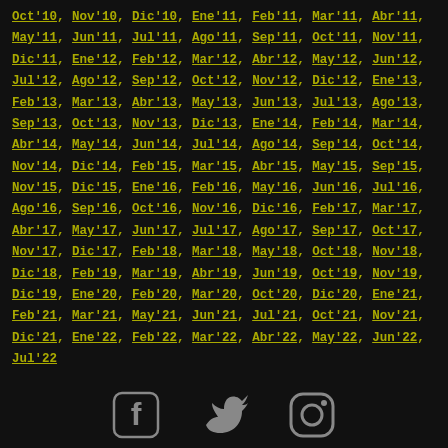Oct'10, Nov'10, Dic'10, Ene'11, Feb'11, Mar'11, Abr'11, May'11, Jun'11, Jul'11, Ago'11, Sep'11, Oct'11, Nov'11, Dic'11, Ene'12, Feb'12, Mar'12, Abr'12, May'12, Jun'12, Jul'12, Ago'12, Sep'12, Oct'12, Nov'12, Dic'12, Ene'13, Feb'13, Mar'13, Abr'13, May'13, Jun'13, Jul'13, Ago'13, Sep'13, Oct'13, Nov'13, Dic'13, Ene'14, Feb'14, Mar'14, Abr'14, May'14, Jun'14, Jul'14, Ago'14, Sep'14, Oct'14, Nov'14, Dic'14, Feb'15, Mar'15, Abr'15, May'15, Sep'15, Nov'15, Dic'15, Ene'16, Feb'16, May'16, Jun'16, Jul'16, Ago'16, Sep'16, Oct'16, Nov'16, Dic'16, Feb'17, Mar'17, Abr'17, May'17, Jun'17, Jul'17, Ago'17, Sep'17, Oct'17, Nov'17, Dic'17, Feb'18, Mar'18, May'18, Oct'18, Nov'18, Dic'18, Feb'19, Mar'19, Abr'19, Jun'19, Oct'19, Nov'19, Dic'19, Ene'20, Feb'20, Mar'20, Oct'20, Dic'20, Ene'21, Feb'21, Mar'21, May'21, Jun'21, Jul'21, Oct'21, Nov'21, Dic'21, Ene'22, Feb'22, Mar'22, Abr'22, May'22, Jun'22, Jul'22
[Figure (logo): Facebook, Twitter, and Instagram social media icons in gray]
AGENDA